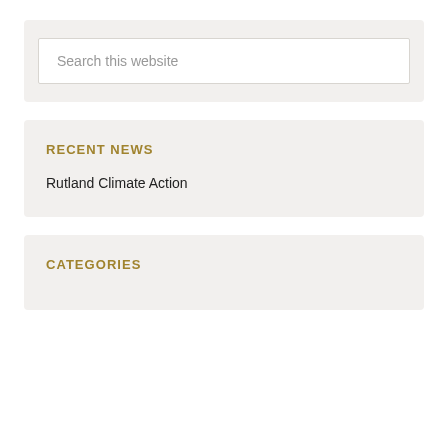Search this website
RECENT NEWS
Rutland Climate Action
CATEGORIES